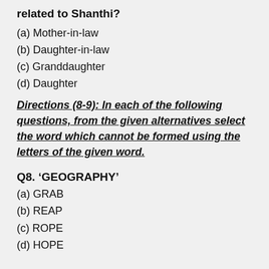related to Shanthi?
(a) Mother-in-law
(b) Daughter-in-law
(c) Granddaughter
(d) Daughter
Directions (8-9): In each of the following questions, from the given alternatives select the word which cannot be formed using the letters of the given word.
Q8. ‘GEOGRAPHY’
(a) GRAB
(b) REAP
(c) ROPE
(d) HOPE